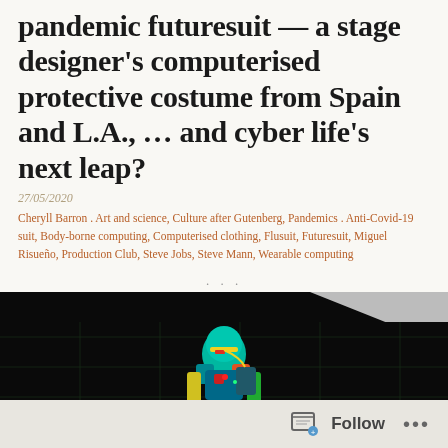pandemic futuresuit — a stage designer's computerised protective costume from Spain and L.A., ... and cyber life's next leap?
27/05/2020
Cheryll Barron . Art and science, Culture after Gutenberg, Pandemics . Anti-Covid-19 suit, Body-borne computing, Computerised clothing, Flusuit, Futuresuit, Miguel Risueño, Production Club, Steve Jobs, Steve Mann, Wearable computing
...
[Figure (photo): A colorful computerised protective suit/costume displayed on a figure against a dark background with a grid overlay. The suit features vivid colors including teal, red, yellow, and green, resembling a futuristic body-borne wearable computing outfit.]
Follow ...